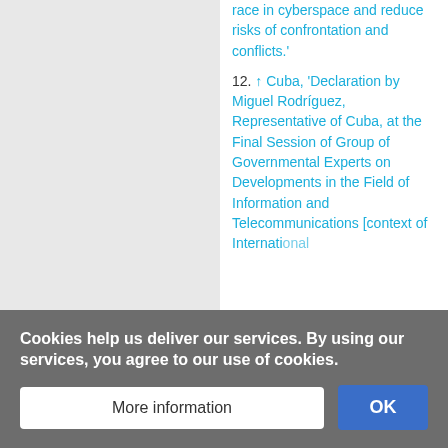race in cyberspace and reduce risks of confrontation and conflicts.'
12. ↑ Cuba, 'Declaration by Miguel Rodríguez, Representative of Cuba, at the Final Session of Group of Governmental Experts on Developments in the Field of Information and Telecommunications [context of International...]'
Cookies help us deliver our services. By using our services, you agree to our use of cookies.